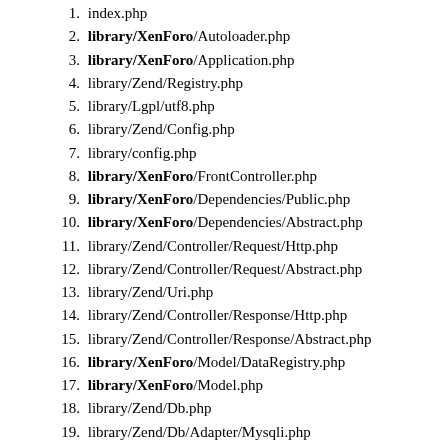1. index.php
2. library/XenForo/Autoloader.php
3. library/XenForo/Application.php
4. library/Zend/Registry.php
5. library/Lgpl/utf8.php
6. library/Zend/Config.php
7. library/config.php
8. library/XenForo/FrontController.php
9. library/XenForo/Dependencies/Public.php
10. library/XenForo/Dependencies/Abstract.php
11. library/Zend/Controller/Request/Http.php
12. library/Zend/Controller/Request/Abstract.php
13. library/Zend/Uri.php
14. library/Zend/Controller/Response/Http.php
15. library/Zend/Controller/Response/Abstract.php
16. library/XenForo/Model/DataRegistry.php
17. library/XenForo/Model.php
18. library/Zend/Db.php
19. library/Zend/Db/Adapter/Mysqli.php
20. library/Zend/Db/Adapter/Abstract.php
21. library/Zend/Db/Select.php
22. library/Zend/Db/Expr.php
23. library/Zend/Db/Profiler.php
24. library/Zend/Db/Statement/Mysqli.php
25. library/Zend/Db/Statement.php
26. library/Zend/Db/Statement/Interface.php